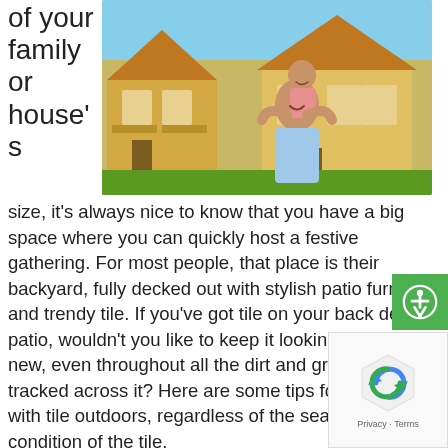of your family or house's
[Figure (photo): A man giving a young girl a piggyback ride outdoors in front of suburban houses, both smiling]
size, it's always nice to know that you have a big space where you can quickly host a festive gathering. For most people, that place is their backyard, fully decked out with stylish patio furniture and trendy tile. If you've got tile on your back deck or patio, wouldn't you like to keep it looking nice and new, even throughout all the dirt and grime that gets tracked across it? Here are some tips for dealing with tile outdoors, regardless of the season or the condition of the tile.
Dealing with Durable Tile